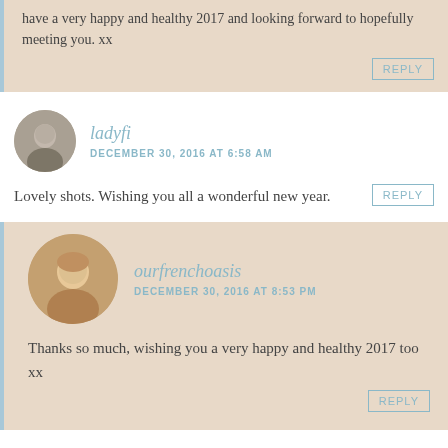have a very happy and healthy 2017 and looking forward to hopefully meeting you. xx
REPLY
ladyfi
DECEMBER 30, 2016 AT 6:58 AM
Lovely shots. Wishing you all a wonderful new year.
REPLY
ourfrenchoasis
DECEMBER 30, 2016 AT 8:53 PM
Thanks so much, wishing you a very happy and healthy 2017 too xx
REPLY